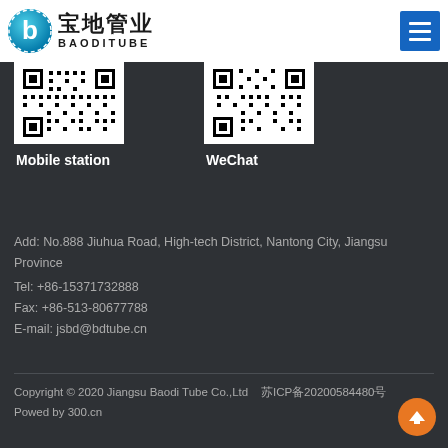[Figure (logo): Baoddi Tube company logo with circular blue icon and Chinese/English text '宝地管业 BAODITUBE']
[Figure (other): Navigation menu icon (hamburger) on blue background]
[Figure (other): QR code for Mobile station]
Mobile station
[Figure (other): QR code for WeChat]
WeChat
Add: No.888 Jiuhua Road, High-tech District, Nantong City, Jiangsu Province
Tel: +86-15371732888
Fax: +86-513-80677788
E-mail: jsbd@bdtube.cn
Copyright © 2020 Jiangsu Baodi Tube Co.,Ltd   苏ICP备20200584480号
Powed by 300.cn